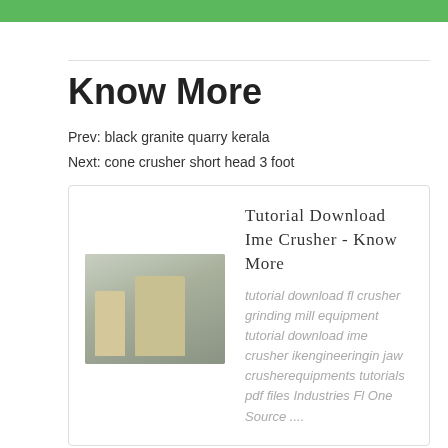Know More
Prev: black granite quarry kerala
Next: cone crusher short head 3 foot
[Figure (photo): Industrial grinding mill / crusher equipment photo]
Tutorial Download Ime Crusher - Know More
tutorial download fl crusher grinding mill equipment tutorial download ime crusher ikengineeringin jaw crusherequipments tutorials pdf files Industries Fl One Source ....